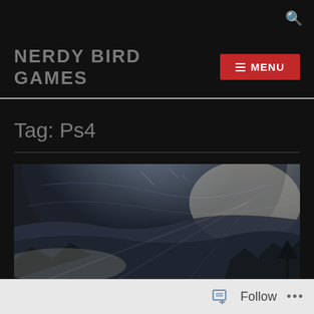NERDY BIRD GAMES | MENU
Tag: Ps4
[Figure (photo): Sci-fi atmospheric scene with a large planet or structure looming over a misty landscape with mountains and dramatic light rays]
Follow ...